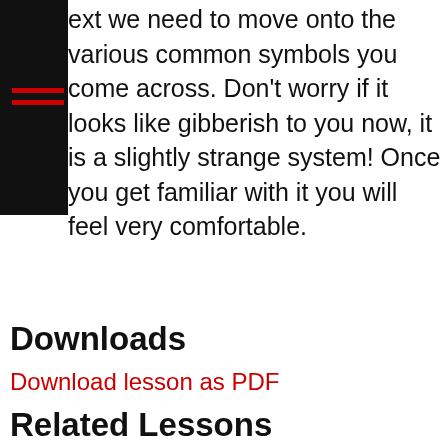ext we need to move onto the various common symbols you come across. Don't worry if it looks like gibberish to you now, it is a slightly strange system! Once you get familiar with it you will feel very comfortable.
Downloads
Download lesson as PDF
Related Lessons
Reading Music On The Bass Guitar: The Very Basics - Counting
Reading Music On The Bass Guitar: The Very Basics -
[Figure (other): Support me button with coffee cup icon on blue rounded background]
Reading Music On The Bass Guitar: The Very Basics -